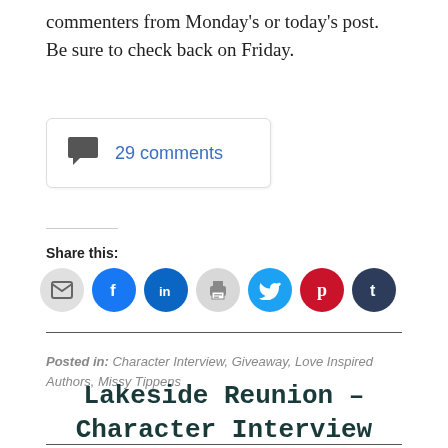commenters from Monday's or today's post. Be sure to check back on Friday.
29 comments
Share this:
Posted in: Character Interview, Giveaway, Love Inspired Authors, Missy Tippens
Lakeside Reunion – Character Interview